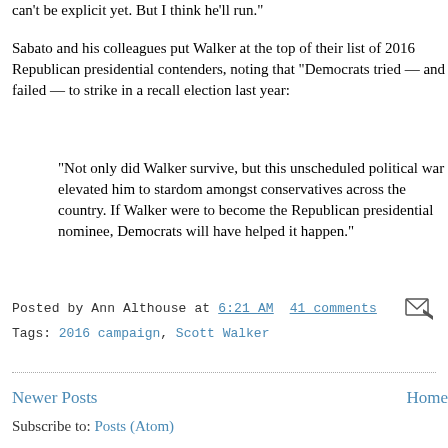can't be explicit yet. But I think he'll run."
Sabato and his colleagues put Walker at the top of their list of 2016 Republican presidential contenders, noting that "Democrats tried — and failed — to strike in a recall election last year:
"Not only did Walker survive, but this unscheduled political war elevated him to stardom amongst conservatives across the country. If Walker were to become the Republican presidential nominee, Democrats will have helped it happen."
Posted by Ann Althouse at 6:21 AM  41 comments
Tags: 2016 campaign, Scott Walker
Newer Posts
Home
Subscribe to: Posts (Atom)